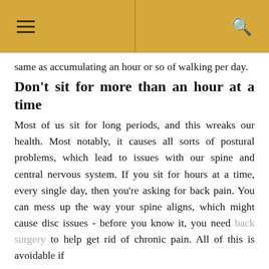≡  🔍
same as accumulating an hour or so of walking per day.
Don't sit for more than an hour at a time
Most of us sit for long periods, and this wreaks our health. Most notably, it causes all sorts of postural problems, which lead to issues with our spine and central nervous system. If you sit for hours at a time, every single day, then you're asking for back pain. You can mess up the way your spine aligns, which might cause disc issues - before you know it, you need back surgery to help get rid of chronic pain. All of this is avoidable if